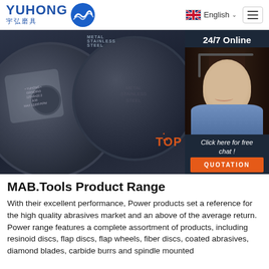YUHONG 宇弘磨具 | English | Menu
[Figure (photo): Close-up of grinding/cutting abrasive discs for metal and stainless steel, dark industrial background. Right panel: 24/7 Online support agent (woman with headset, smiling) with 'Click here for free chat!' text and QUOTATION button.]
MAB.Tools Product Range
With their excellent performance, Power products set a reference for the high quality abrasives market and an above of the average return. Power range features a complete assortment of products, including resinoid discs, flap discs, flap wheels, fiber discs, coated abrasives, diamond blades, carbide burrs and spindle mounted